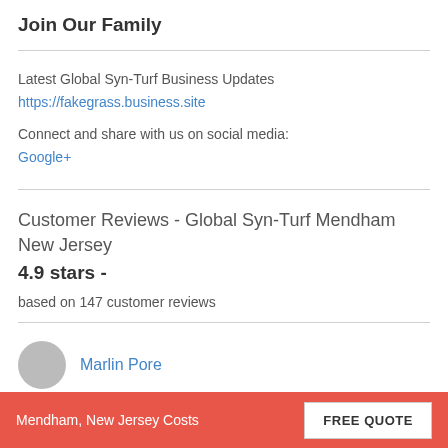Join Our Family
Latest Global Syn-Turf Business Updates
https://fakegrass.business.site
Connect and share with us on social media:
Google+
Customer Reviews - Global Syn-Turf Mendham New Jersey
4.9 stars -
based on 147 customer reviews
Marlin Pore
Mendham, New Jersey Costs  FREE QUOTE